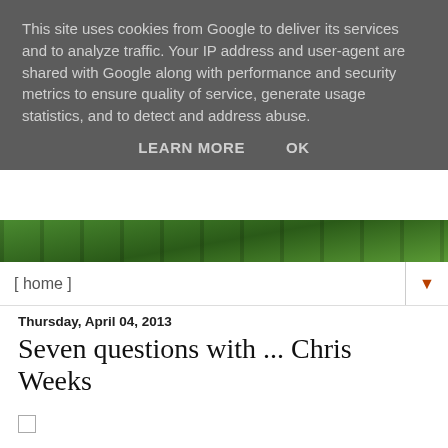This site uses cookies from Google to deliver its services and to analyze traffic. Your IP address and user-agent are shared with Google along with performance and security metrics to ensure quality of service, generate usage statistics, and to detect and address abuse.
LEARN MORE   OK
[Figure (photo): Green foliage/garden header image strip]
[ home ]
Thursday, April 04, 2013
Seven questions with ... Chris Weeks
Following on from my review of Chris Weeks' "The Ebb and Flow" ... I thought it apt to get to know him a wee bit better.
----------